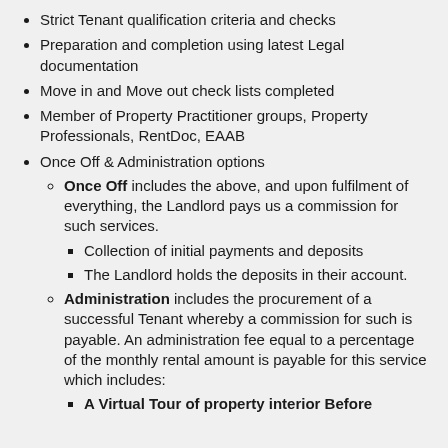Strict Tenant qualification criteria and checks
Preparation and completion using latest Legal documentation
Move in and Move out check lists completed
Member of Property Practitioner groups, Property Professionals, RentDoc, EAAB
Once Off & Administration options
Once Off includes the above, and upon fulfilment of everything, the Landlord pays us a commission for such services.
Collection of initial payments and deposits
The Landlord holds the deposits in their account.
Administration includes the procurement of a successful Tenant whereby a commission for such is payable. An administration fee equal to a percentage of the monthly rental amount is payable for this service which includes:
A Virtual Tour of property interior Before